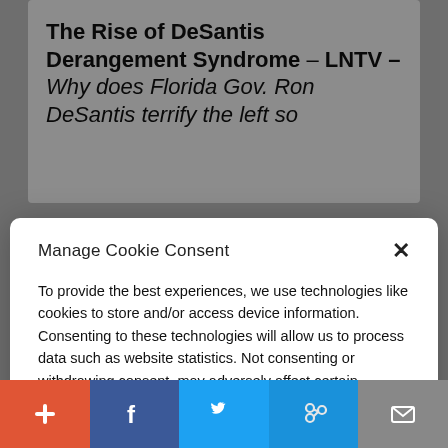The Rise of DeSantis Derangement Syndrome – LNTV – Why does Florida Gov. Ron DeSantis terrify the left so
Manage Cookie Consent
To provide the best experiences, we use technologies like cookies to store and/or access device information. Consenting to these technologies will allow us to process data such as website statistics. Not consenting or withdrawing consent, may adversely affect certain features and functions.
Accept
Cookie Policy   Privacy Policy
Watch Now